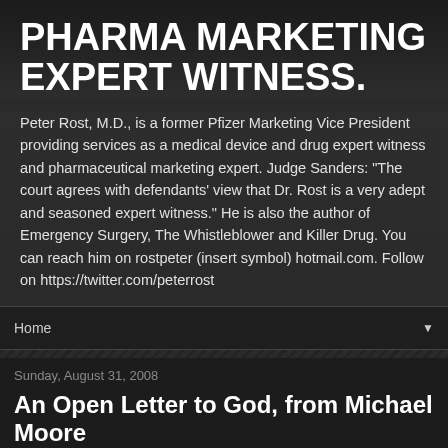PHARMA MARKETING EXPERT WITNESS.
Peter Rost, M.D., is a former Pfizer Marketing Vice President providing services as a medical device and drug expert witness and pharmaceutical marketing expert. Judge Sanders: "The court agrees with defendants' view that Dr. Rost is a very adept and seasoned expert witness." He is also the author of Emergency Surgery, The Whistleblower and Killer Drug. You can reach him on rostpeter (insert symbol) hotmail.com. Follow on https://twitter.com/peterrost
Home
Sunday, August 31, 2008
An Open Letter to God, from Michael Moore
Sunday, August 31st, 2008